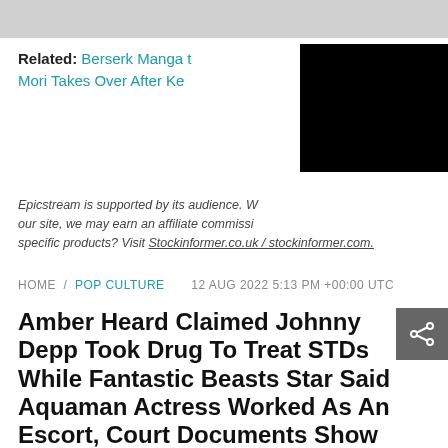[Figure (other): Gray banner/header bar at the top of the page]
Related: Berserk Manga t... Mori Takes Over After Ke...
[Figure (other): Black redacted/censored rectangle covering part of the related link area]
Epicstream is supported by its audience. W... our site, we may earn an affiliate commissi... specific products? Visit Stockinformer.co.uk / stockinformer.com.
HOME / POP CULTURE   12 AUG 2022 5:13 PM +00:00 UTC
Amber Heard Claimed Johnny Depp Took Drug To Treat STDs While Fantastic Beasts Star Said Aquaman Actress Worked As An Escort, Court Documents Show
[Figure (other): Dark gray share button icon in the top-right corner of the title area]